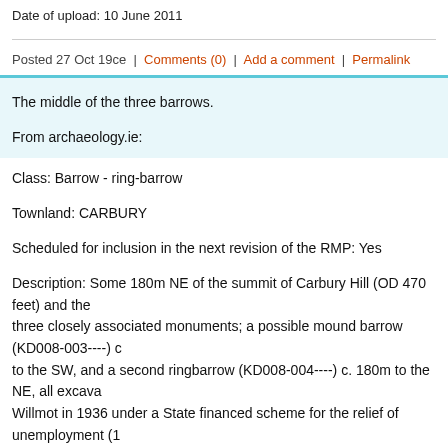Date of upload: 10 June 2011
Posted 27 Oct 19ce  |  Comments (0)  |  Add a comment  |  Permalink
The middle of the three barrows.
From archaeology.ie:
Class: Barrow - ring-barrow
Townland: CARBURY
Scheduled for inclusion in the next revision of the RMP: Yes
Description: Some 180m NE of the summit of Carbury Hill (OD 470 feet) and the three closely associated monuments; a possible mound barrow (KD008-003----) c to the SW, and a second ringbarrow (KD008-004----) c. 180m to the NE, all excava Willmot in 1936 under a State financed scheme for the relief of unemployment (1 42: Site A). A circular area (ext. diam. c. 26m) was defined by an inner, rock-cut f Wth c. 2.4m; D c. 0.45-c.0.9m) and an outer 'bank' (Wth av. c. 4.8m; H c. 0.6m) constructed of broken, rubble limestone. Opposing entrance gaps occurred at NW 3.65m) and SE (Wth c. 2.4m) and were matched by corresponding, undug, cause